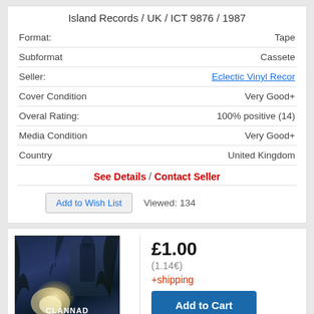Island Records / UK / ICT 9876 / 1987
| Format: | Tape |
| Subformat | Cassete |
| Seller: | Eclectic Vinyl Recor |
| Cover Condition | Very Good+ |
| Overal Rating: | 100% positive (14) |
| Media Condition | Very Good+ |
| Country | United Kingdom |
See Details / Contact Seller
Add to Wish List    Viewed: 134
[Figure (photo): Clannad Legend album cassette cover - dark forest scene with glowing light, figure in background, text reads CLANNAD LEGEND MUSIC FROM THE TV SERIES ROBIN OF SHERWOOD]
£1.00
(1.14€)
+shipping
Add to Cart